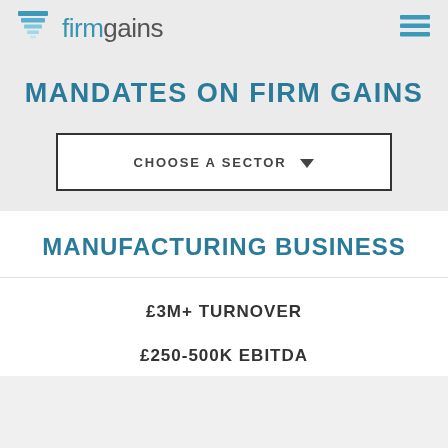firmgains
MANDATES ON FIRM GAINS
CHOOSE A SECTOR
MANUFACTURING BUSINESS
£3M+ TURNOVER
£250-500K EBITDA